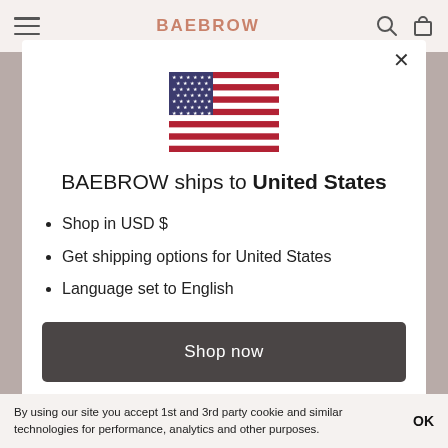BAEBROW
[Figure (illustration): US flag SVG illustration]
BAEBROW ships to United States
Shop in USD $
Get shipping options for United States
Language set to English
Shop now
Change shipping country and language
By using our site you accept 1st and 3rd party cookie and similar technologies for performance, analytics and other purposes.